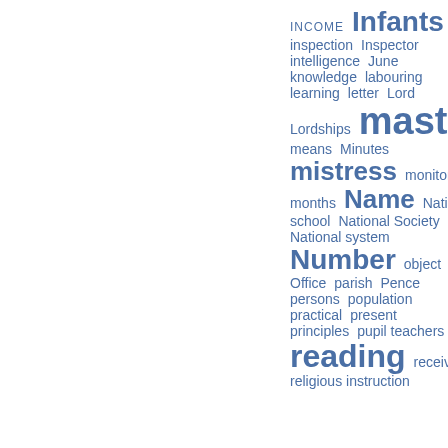[Figure (infographic): Word cloud in blue showing index terms related to education, with font sizes indicating frequency/importance. Terms include: INCOME, Infants, inspection, Inspector, intelligence, June, knowledge, labouring, learning, letter, Lord, Lordships, master, means, Minutes, mistress, monitors, months, Name, National school, National Society, National system, Number, object, offer, Office, parish, Pence, persons, population, practical, present, principles, pupil teachers, reading, receive, religious instruction]